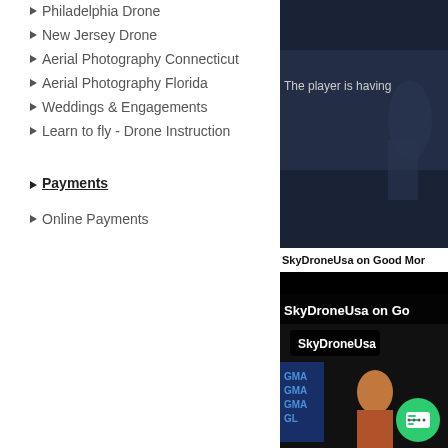Philadelphia Drone
New Jersey Drone
Aerial Photography Connecticut
Aerial Photography Florida
Weddings & Engagements
Learn to fly - Drone Instruction
Payments
Online Payments
[Figure (screenshot): Video player with error message 'The player is having' and dark background]
SkyDroneUsa on Good Mor
[Figure (screenshot): Video thumbnail for SkyDroneUsa on Good Morning America, showing channel name 'SkyDroneUsa', GMA branding, news anchors, and a green chat bubble icon]